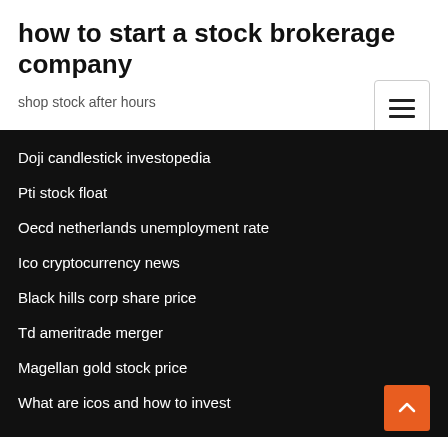how to start a stock brokerage company
shop stock after hours
Doji candlestick investopedia
Pti stock float
Oecd netherlands unemployment rate
Ico cryptocurrency news
Black hills corp share price
Td ameritrade merger
Magellan gold stock price
What are icos and how to invest